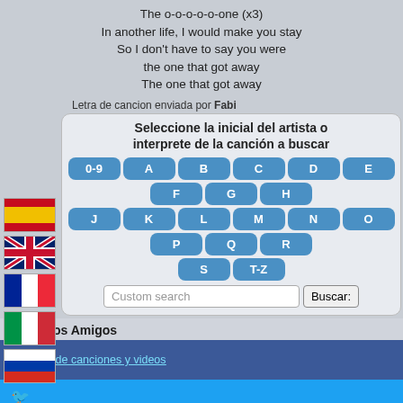The o-o-o-o-o-one (x3)
In another life, I would make you stay
So I don't have to say you were
the one that got away
The one that got away
Letra de cancion enviada por Fabi
Seleccione la inicial del artista o interprete de la canción a buscar
0-9 A B C D E F G H J K L M N O P Q R S T-Z
Custom search | Buscar:
Mis Sitios Amigos
Letras de canciones y videos
Aceptamos donacion de BTC en
1MiTkGBmwa1EUoSKVS1mVxUU7WeWAutoEy
Aceptamos donacion de ETH en
0x54ba7b0Fee066205c77683B0523C3920912F7E3D
Politica de Privacidad